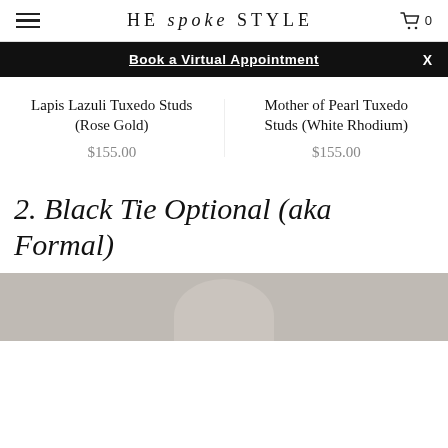HE spoke STYLE
Book a Virtual Appointment  X
Lapis Lazuli Tuxedo Studs (Rose Gold)
$155.00
Mother of Pearl Tuxedo Studs (White Rhodium)
$155.00
2. Black Tie Optional (aka Formal)
[Figure (photo): Bottom portion of a person/mannequin in formal wear, cropped at head level against a light gray background]